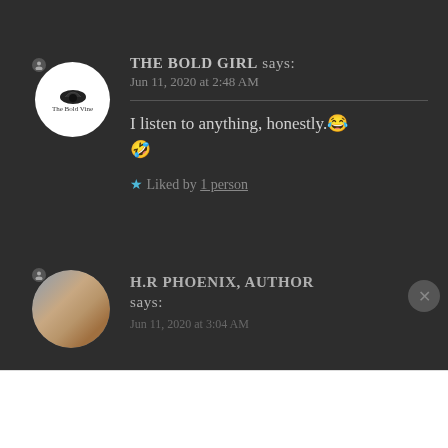THE BOLD GIRL says: Jun 11, 2020 at 2:48 AM
I listen to anything, honestly.😂🤣
★ Liked by 1 person
H.R PHOENIX, AUTHOR says: Jun 11, 2020 at 3:04 AM
Advertisements
[Figure (infographic): Advertisement banner: Content Analytics Made Easy — Get A Demo → Parse.ly]